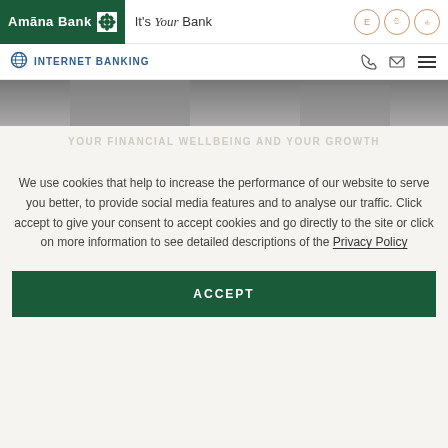Amāna Bank — It's Your Bank — Internet Banking
[Figure (screenshot): Amana Bank website header screenshot showing logo, tagline, language buttons, internet banking link, and nav icons]
We use cookies that help to increase the performance of our website to serve you better, to provide social media features and to analyse our traffic. Click accept to give your consent to accept cookies and go directly to the site or click on more information to see detailed descriptions of the Privacy Policy
ACCEPT